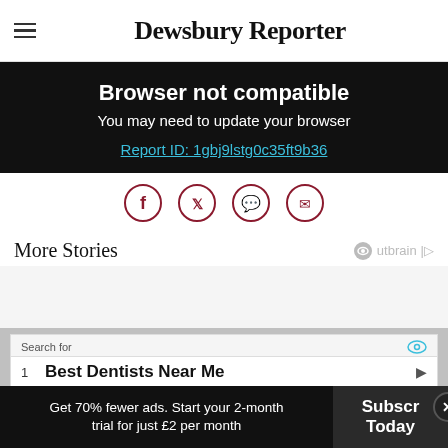Dewsbury Reporter
Browser not compatible
You may need to update your browser
Report ID: 1gbj9lstg0c35ft9b36
[Figure (illustration): Social sharing icons row: Facebook, Twitter, WhatsApp, and email circle icons with dark red outlines]
More Stories
Search for
1 Best Dentists Near Me
Yahoo! Search | Sponsored
Get 70% fewer ads. Start your 2-month trial for just £2 per month   Subscribe Today